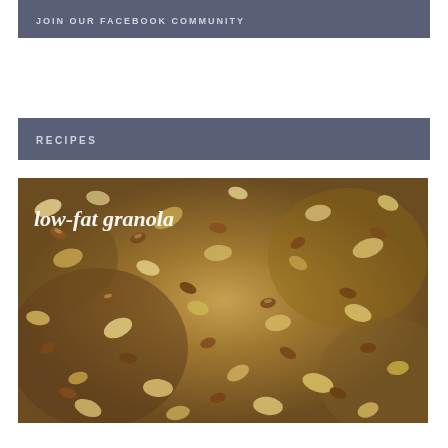JOIN OUR FACEBOOK COMMUNITY
RECIPES
[Figure (photo): Close-up photo of low-fat granola with oats and almonds, with italic white text overlay reading 'low-fat granola']